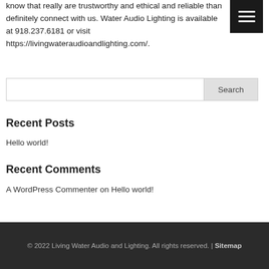know that really are trustworthy and ethical and reliable than definitely connect with us. Water Audio Lighting is available at 918.237.6181 or visit https://livingwateraudioandlighting.com/.
[Figure (other): Dark hamburger menu button with three horizontal white lines on black background]
Recent Posts
Hello world!
Recent Comments
A WordPress Commenter on Hello world!
© 2022 Living Water Audio and Lighting. All rights reserved. | Sitemap